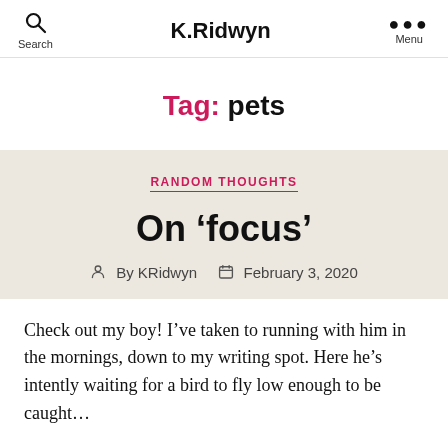K.Ridwyn
Tag: pets
RANDOM THOUGHTS
On ‘focus’
By KRidwyn   February 3, 2020
Check out my boy! I’ve taken to running with him in the mornings, down to my writing spot. Here he’s intently waiting for a bird to fly low enough to be caught…